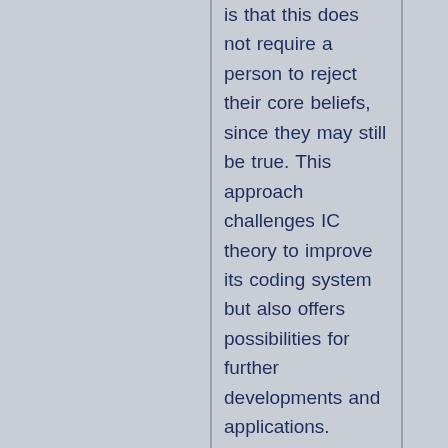is that this does not require a person to reject their core beliefs, since they may still be true. This approach challenges IC theory to improve its coding system but also offers possibilities for further developments and applications.